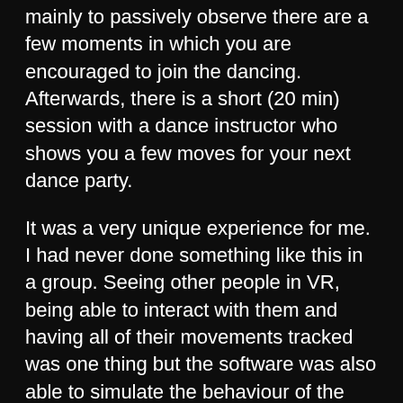mainly to passively observe there are a few moments in which you are encouraged to join the dancing. Afterwards, there is a short (20 min) session with a dance instructor who shows you a few moves for your next dance party.
It was a very unique experience for me. I had never done something like this in a group. Seeing other people in VR, being able to interact with them and having all of their movements tracked was one thing but the software was also able to simulate the behaviour of the cloth I wore to such an extent that I often found myself moving from one place to another just so I could see my virtual outfit flutter. In fact, the visuals were the most outstanding part for me. I didn't get bored